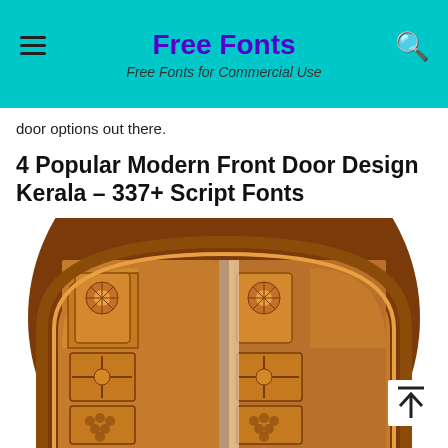Free Fonts
Free Fonts for Commercial Use
door options out there.
4 Popular Modern Front Door Design Kerala – 337+ Script Fonts
[Figure (photo): A carved wooden double door with arched top featuring intricate floral and geometric patterns, partially open showing the interior. The door is made of teak wood with an ornate arched frame.]